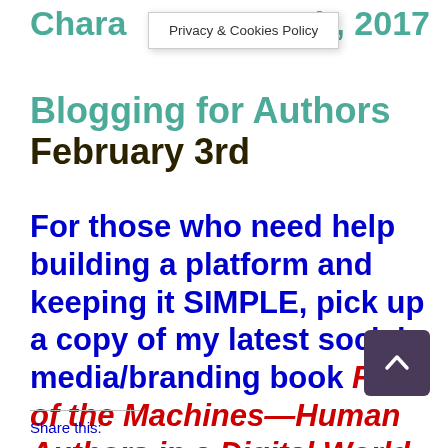Chara… 27th, 2017
[Figure (screenshot): Privacy & Cookies Policy popup overlay]
Blogging for Authors February 3rd
For those who need help building a platform and keeping it SIMPLE, pick up a copy of my latest social media/branding book Rise of the Machines—Human Authors in a Digital World on
Share this: